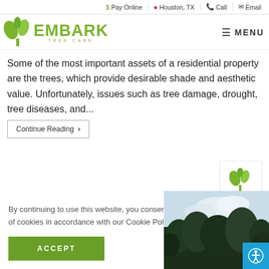$ Pay Online | Houston, TX | Call | Email
[Figure (logo): Embark Tree Care logo with green tree/leaf icon and green text EMBARK TREE CARE]
≡ MENU
Some of the most important assets of a residential property are the trees, which provide desirable shade and aesthetic value. Unfortunately, issues such as tree damage, drought, tree diseases, and...
Continue Reading ›
By continuing to use this website, you consent to the use of cookies in accordance with our Cookie Policy.
ACCEPT
[Figure (photo): Photo of trees with sky and clouds]